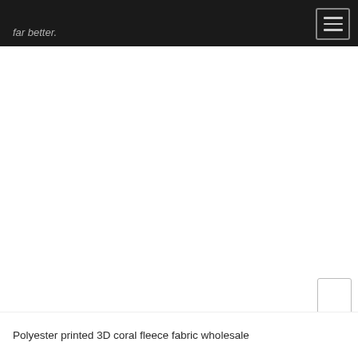far better.
[Figure (other): Navigation menu button (hamburger icon) in top-right corner of dark header bar]
[Figure (other): Large white blank content area (product image placeholder)]
[Figure (other): Small scroll-to-top or UI button in bottom-right area]
Polyester printed 3D coral fleece fabric wholesale